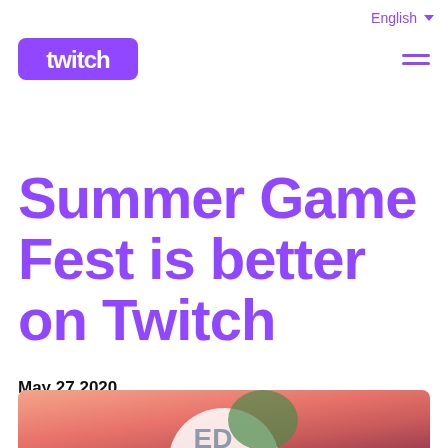English ▼
[Figure (logo): Twitch logo in purple with hamburger menu icon]
Summer Game Fest is better on Twitch
May 27 2020
[Figure (photo): Hero image with pink/salmon gradient background and partial game fest logo visible]